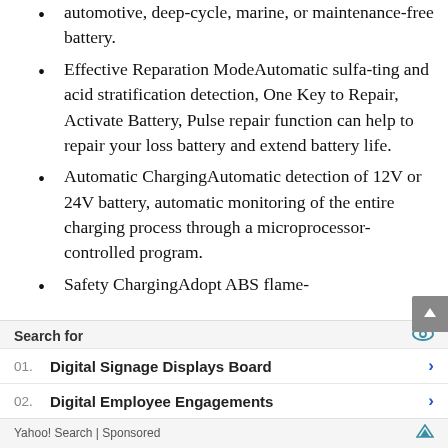automotive, deep-cycle, marine, or maintenance-free battery.
Effective Reparation Mode­Automatic sulfa-ting and acid stratification detection, One Key to Repair, Activate Battery, Pulse repair function can help to repair your loss battery and extend battery life.
Automatic Charging­Automatic detection of 12V or 24V battery, automatic monitoring of the entire charging process through a microprocessor-controlled program.
Safety Charging­Adopt ABS flame-
Search for
01.  Digital Signage Displays Board
02.  Digital Employee Engagements
Yahoo! Search | Sponsored